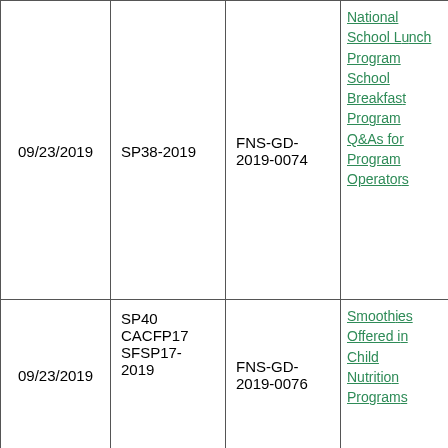| Date | Memo | GD Number | Title |
| --- | --- | --- | --- |
| 09/23/2019 | SP38-2019 | FNS-GD-2019-0074 | National School Lunch Program School Breakfast Program Q&As for Program Operators |
| 09/23/2019 | SP40 CACFP17 SFSP17-2019 | FNS-GD-2019-0076 | Smoothies Offered in Child Nutrition Programs |
|  |  | FNS-GD-... | Salad Bar the National School Lunch... |